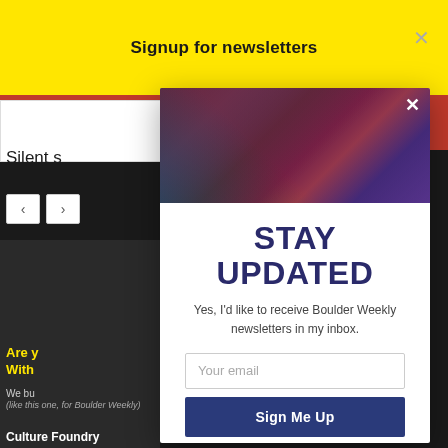Signup for newsletters
[Figure (screenshot): Background website page with dark theme, partially visible text 'Silent s', navigation arrows, dark section with yellow text 'Are y' and 'With', and 'Culture Foundry' footer]
[Figure (photo): Aerial or satellite image of colorful mountain terrain with red, teal, and purple hues]
STAY UPDATED
Yes, I'd like to receive Boulder Weekly newsletters in my inbox.
Your email
Sign Me Up